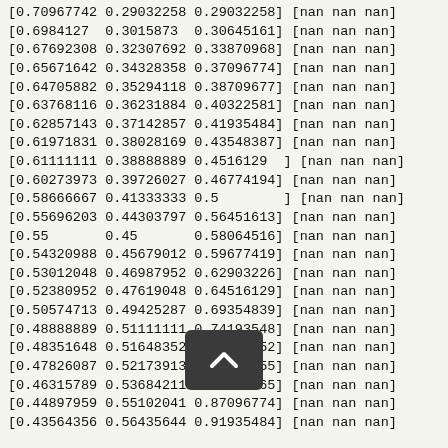[0.70967742 0.29032258 0.29032258] [nan nan nan]
[0.6984127  0.3015873  0.30645161] [nan nan nan]
[0.67692308 0.32307692 0.33870968] [nan nan nan]
[0.65671642 0.34328358 0.37096774] [nan nan nan]
[0.64705882 0.35294118 0.38709677] [nan nan nan]
[0.63768116 0.36231884 0.40322581] [nan nan nan]
[0.62857143 0.37142857 0.41935484] [nan nan nan]
[0.61971831 0.38028169 0.43548387] [nan nan nan]
[0.61111111 0.38888889 0.4516129  ] [nan nan nan]
[0.60273973 0.39726027 0.46774194] [nan nan nan]
[0.58666667 0.41333333 0.5        ] [nan nan nan]
[0.55696203 0.44303797 0.56451613] [nan nan nan]
[0.55       0.45       0.58064516] [nan nan nan]
[0.54320988 0.45679012 0.59677419] [nan nan nan]
[0.53012048 0.46987952 0.62903226] [nan nan nan]
[0.52380952 0.47619048 0.64516129] [nan nan nan]
[0.50574713 0.49425287 0.69354839] [nan nan nan]
[0.48888889 0.51111111 0.74193548] [nan nan nan]
[0.48351648 0.51648352 0.75806452] [nan nan nan]
[0.47826087 0.52173913 0.77419355] [nan nan nan]
[0.46315789 0.53684211 0.82258065] [nan nan nan]
[0.44897959 0.55102041 0.87096774] [nan nan nan]
[0.43564356 0.56435644 0.91935484] [nan nan nan]